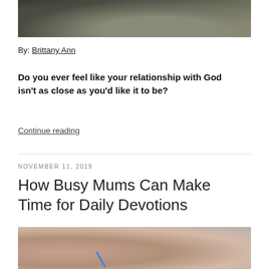[Figure (photo): Top portion of a photo showing a person sitting outdoors reading, with a hat on the ground, dark moody tones]
By: Brittany Ann
Do you ever feel like your relationship with God isn't as close as you'd like it to be?
Continue reading
NOVEMBER 11, 2019
How Busy Mums Can Make Time for Daily Devotions
[Figure (photo): Close-up photo of a person's hand writing with a blue pencil, blurred background]